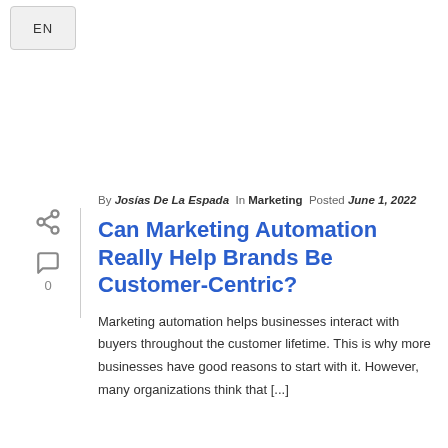EN
By Josías De La Espada In Marketing Posted June 1, 2022
Can Marketing Automation Really Help Brands Be Customer-Centric?
Marketing automation helps businesses interact with buyers throughout the customer lifetime. This is why more businesses have good reasons to start with it. However, many organizations think that [...]